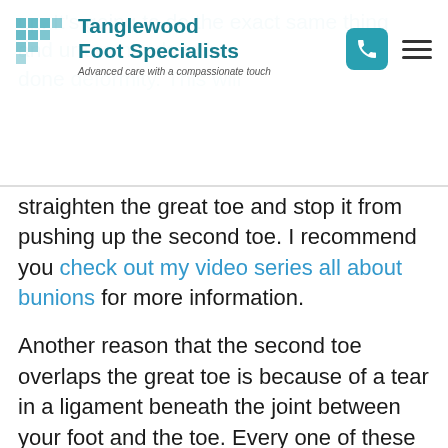[Figure (logo): Tanglewood Foot Specialists logo with teal grid icon, bold teal text 'Tanglewood Foot Specialists', italic subtitle 'Advanced care with a compassionate touch']
straighten the great toe and stop it from pushing up the second toe. I recommend you check out my video series all about bunions for more information.
Another reason that the second toe overlaps the great toe is because of a tear in a ligament beneath the joint between your foot and the toe. Every one of these joints has a capsule of ligaments that envelops the joint. The bottom part of the capsule is thickened, and we call it the plantar plate. A rupture of the